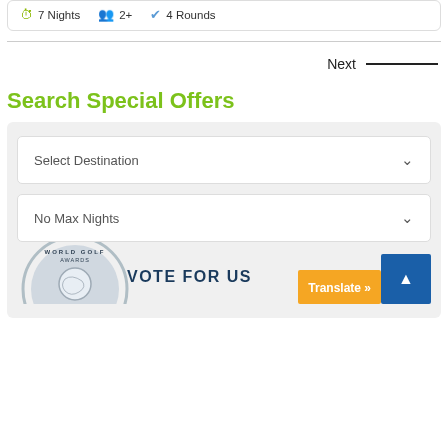7 Nights  2+  4 Rounds
Next
Search Special Offers
Select Destination
No Max Nights
[Figure (logo): World Golf Awards Nominee 2022 badge with VOTE FOR US text]
Translate »